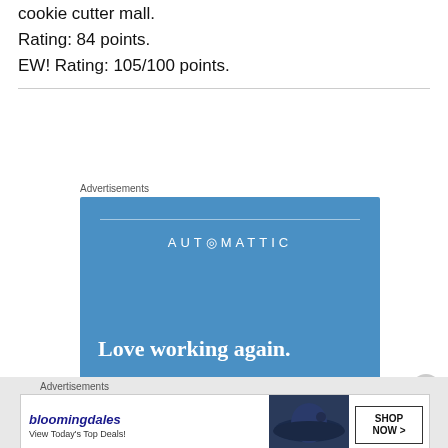cookie cutter mall.
Rating: 84 points.
EW! Rating: 105/100 points.
[Figure (screenshot): Automattic advertisement with blue background, brand name 'AUTOMATTIC', tagline 'Love working again.' and an Apply button]
[Figure (screenshot): Bloomingdale's advertisement showing logo, 'View Today's Top Deals!' text, a woman in a hat, and a SHOP NOW button]